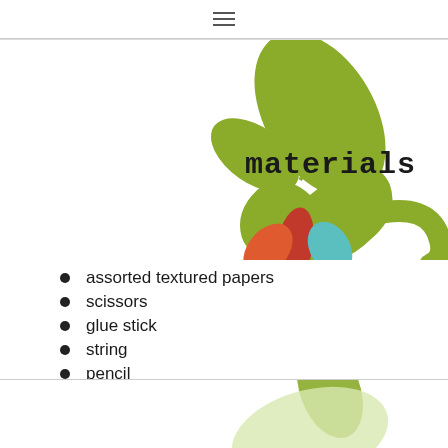[Figure (illustration): Stylized apple graphic with green leaf and stem on top, and colorful leaf shapes at the bottom (red, orange, teal). The word 'materials' appears in bold monospace font next to the apple graphic.]
assorted textured papers
scissors
glue stick
string
pencil